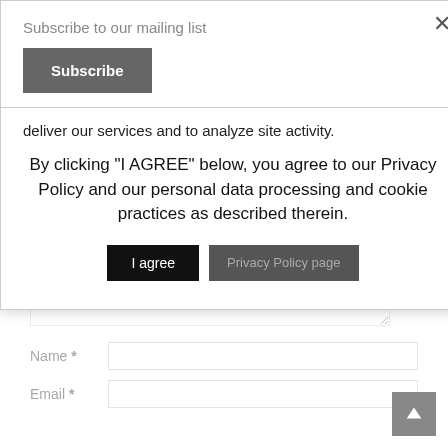Subscribe to our mailing list
Subscribe
deliver our services and to analyze site activity.
By clicking "I AGREE" below, you agree to our Privacy Policy and our personal data processing and cookie practices as described therein.
I agree
Privacy Policy page